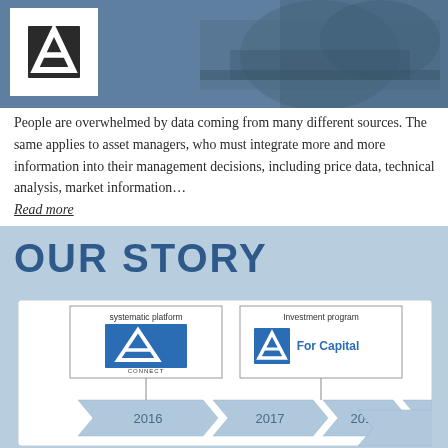[Figure (photo): Blue-tinted hero image of people at work with AI logo in white box overlay]
People are overwhelmed by data coming from many different sources. The same applies to asset managers, who must integrate more and more information into their management decisions, including price data, technical analysis, market information…
Read more
OUR STORY
[Figure (infographic): Timeline infographic showing years 2016, 2017, 2018, 2019 as chevron arrows. Above 2016: 'systematic platform' box with AI CONNECT logo. Above 2019: 'Investment program' box with AI For Capital logo.]